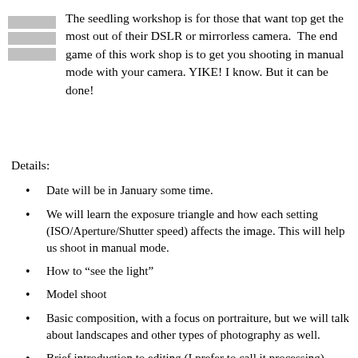[Figure (illustration): Stack of three horizontal gray bars forming a menu/list icon]
The seedling workshop is for those that want top get the most out of their DSLR or mirrorless camera.  The end game of this work shop is to get you shooting in manual mode with your camera. YIKE! I know. But it can be done!
Details:
Date will be in January some time.
We will learn the exposure triangle and how each setting (ISO/Aperture/Shutter speed) affects the image. This will help us shoot in manual mode.
How to “see the light”
Model shoot
Basic composition, with a focus on portraiture, but we will talk about landscapes and other types of photography as well.
Brief introduction to editing (I prefer to call it processing) images.
Not for professional photographers.  Requires a DSLR or Mirrorless camera.